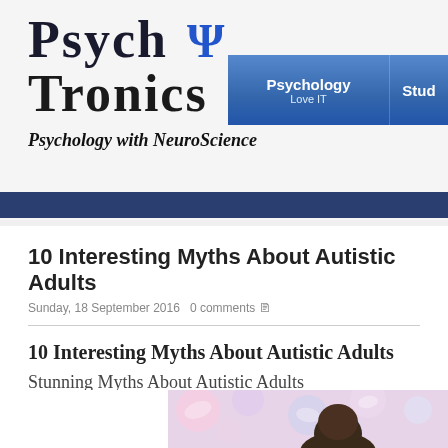Psych Ψ Tronics
Psychology with NeuroScience
Psychology Love IT | Stud
10 Interesting Myths About Autistic Adults
Sunday, 18 September 2016  0 comments
10 Interesting Myths About Autistic Adults
Stunning Myths About Autistic Adults
[Figure (photo): Partial view of a person with dark hair, seen from behind, with a soft bokeh background of pink and lavender circles]